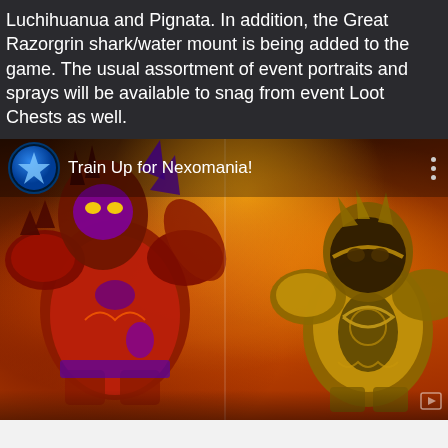Luchihuanua and Pignata. In addition, the Great Razorgrin shark/water mount is being added to the game. The usual assortment of event portraits and sprays will be available to snag from event Loot Chests as well.
[Figure (screenshot): Screenshot of a Heroes of the Storm promotional video thumbnail titled 'Train Up for Nexomania!' showing two stylized wrestling/demon warrior characters against a fiery orange background. A circular blue HotS logo icon is in the top left, with three vertical dots (menu) in the top right.]